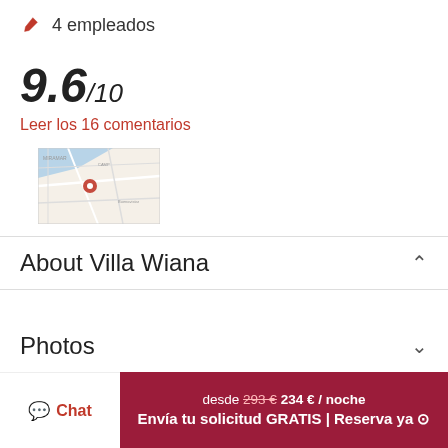4 empleados
9.6/10
Leer los 16 comentarios
[Figure (map): Small map thumbnail showing location of Villa Wiana with a red pin marker on a street map]
About Villa Wiana
Photos
Ubicación
desde 293€ 234 € / noche Envía tu solicitud GRATIS | Reserva ya